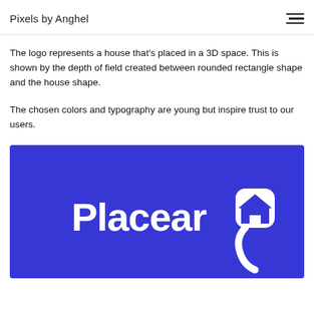Pixels by Anghel
The logo represents a house that's placed in a 3D space. This is shown by the depth of field created between rounded rectangle shape and the house shape.
The chosen colors and typography are young but inspire trust to our users.
[Figure (logo): Placear9 logo — white wordmark 'Placear9' with a stylized house icon inside a rounded square on a blue/indigo background]